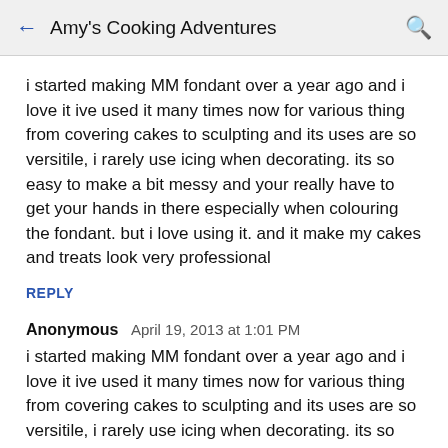← Amy's Cooking Adventures 🔍
i started making MM fondant over a year ago and i love it ive used it many times now for various thing from covering cakes to sculpting and its uses are so versitile, i rarely use icing when decorating. its so easy to make a bit messy and your really have to get your hands in there especially when colouring the fondant. but i love using it. and it make my cakes and treats look very professional
REPLY
Anonymous   April 19, 2013 at 1:01 PM
i started making MM fondant over a year ago and i love it ive used it many times now for various thing from covering cakes to sculpting and its uses are so versitile, i rarely use icing when decorating. its so easy to make a bit messy and your really have to get your hands in there especially when colouring